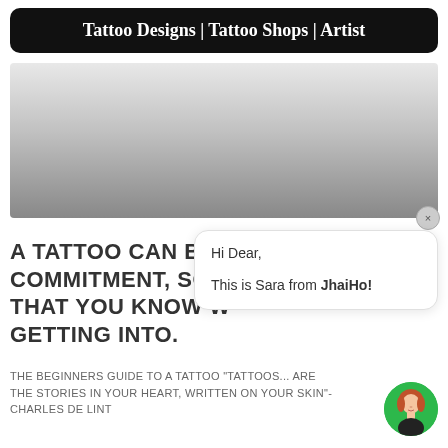Tattoo Designs | Tattoo Shops | Artist
[Figure (photo): Gray gradient advertisement placeholder image area with a close (x) button in the lower right corner]
A TATTOO CAN BE A COMMITMENT, SO MAKE SURE THAT YOU KNOW WHAT YOU'RE GETTING INTO.
[Figure (screenshot): Chat popup bubble with text: Hi Dear, This is Sara from JhaiHo!]
[Figure (illustration): Green circle avatar with illustrated woman with red hair]
THE BEGINNERS GUIDE TO A TATTOO "Tattoos... are the stories in your heart, written on your skin"-Charles De Lint